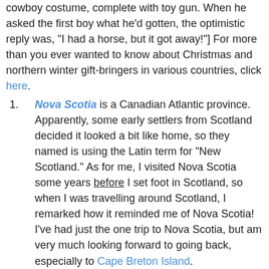cowboy costume, complete with toy gun. When he asked the first boy what he'd gotten, the optimistic reply was, "I had a horse, but it got away!"] For more than you ever wanted to know about Christmas and northern winter gift-bringers in various countries, click here.
Nova Scotia is a Canadian Atlantic province. Apparently, some early settlers from Scotland decided it looked a bit like home, so they named is using the Latin term for "New Scotland." As for me, I visited Nova Scotia some years before I set foot in Scotland, so when I was travelling around Scotland, I remarked how it reminded me of Nova Scotia! I've had just the one trip to Nova Scotia, but am very much looking forward to going back, especially to Cape Breton Island.
Lots of people celebrate St. Valentine's Day, but what is it and why? "It originated as a Christian feast day honoring one or two early Christian martyrs named Saint Valentine and, through later folk traditions, has